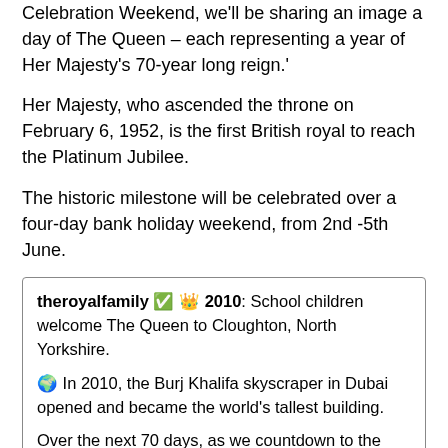Celebration Weekend, we'll be sharing an image a day of The Queen – each representing a year of Her Majesty's 70-year long reign.'
Her Majesty, who ascended the throne on February 6, 1952, is the first British royal to reach the Platinum Jubilee.
The historic milestone will be celebrated over a four-day bank holiday weekend, from 2nd -5th June.
theroyalfamily ✅ 👑 2010: School children welcome The Queen to Cloughton, North Yorkshire.

🌍 In 2010, the Burj Khalifa skyscraper in Dubai opened and became the world's tallest building.

Over the next 70 days, as we countdown to the #PlatinumJubilee Celebration Weekend, we'll be sharing an image a day of The Queen – each representing a year of Her Majesty's 70-year long reign.
The Royal Family Instagram account's caption, which it posted to describe the 2010 image it shared today, as it